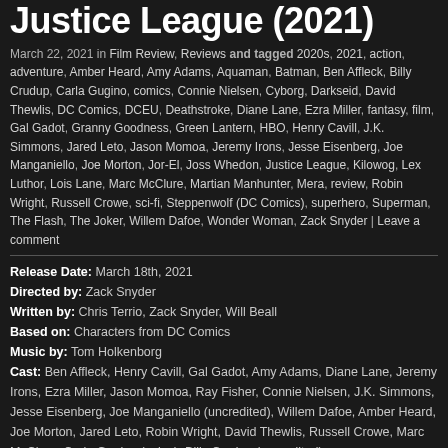Justice League (2021)
March 22, 2021 in Film Review, Reviews and tagged 2020s, 2021, action, adventure, Amber Heard, Amy Adams, Aquaman, Batman, Ben Affleck, Billy Crudup, Carla Gugino, comics, Connie Nielsen, Cyborg, Darkseid, David Thewlis, DC Comics, DCEU, Deathstroke, Diane Lane, Ezra Miller, fantasy, film, Gal Gadot, Granny Goodness, Green Lantern, HBO, Henry Cavill, J.K. Simmons, Jared Leto, Jason Momoa, Jeremy Irons, Jesse Eisenberg, Joe Manganiello, Joe Morton, Jor-El, Joss Whedon, Justice League, Kilowog, Lex Luthor, Lois Lane, Marc McClure, Martian Manhunter, Mera, review, Robin Wright, Russell Crowe, sci-fi, Steppenwolf (DC Comics), superhero, Superman, The Flash, The Joker, Willem Dafoe, Wonder Woman, Zack Snyder | Leave a comment
Release Date: March 18th, 2021
Directed by: Zack Snyder
Written by: Chris Terrio, Zack Snyder, Will Beall
Based on: Characters from DC Comics
Music by: Tom Holkenborg
Cast: Ben Affleck, Henry Cavill, Gal Gadot, Amy Adams, Diane Lane, Jeremy Irons, Ezra Miller, Jason Momoa, Ray Fisher, Connie Nielsen, J.K. Simmons, Jesse Eisenberg, Joe Manganiello (uncredited), Willem Dafoe, Amber Heard, Joe Morton, Jared Leto, Robin Wright, David Thewlis, Russell Crowe, Marc McClure, Carla Gugino (voice), Billy Crudup (uncredited)